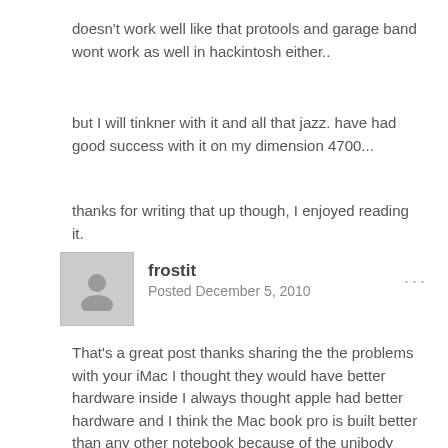doesn't work well like that protools and garage band wont work as well in hackintosh either..
but I will tinkner with it and all that jazz. have had good success with it on my dimension 4700...
thanks for writing that up though, I enjoyed reading it.
frostit
Posted December 5, 2010
That's a great post thanks sharing the the problems with your iMac I thought they would have better hardware inside I always thought apple had better hardware and I think the Mac book pro is built better than any other notebook because of the unibody case. I have a i7 pc that I built and I never got snow leopard working perfectly so I switched to Linux for now but I will try again later when I have mor time